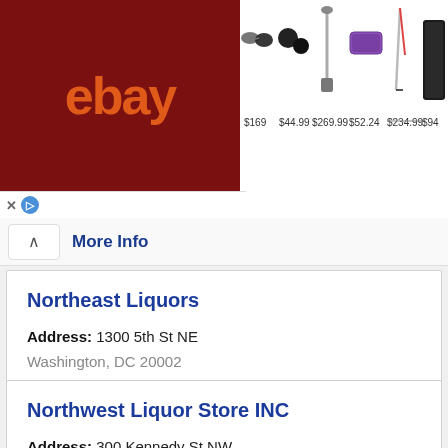[Figure (screenshot): eBay advertisement banner showing logo and product listings with prices: $169, $44.99, $269.99, $52.24, $234.99, $94]
» More Info
Northeast Liquors
Address: 1300 5th St NE
Washington, DC 20002
Phone: (202) 544-1414
» More Info
Northwest Liquor Store INC
Address: 300 Kennedy St NW